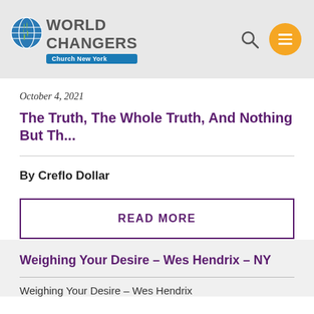World Changers Church New York
October 4, 2021
The Truth, The Whole Truth, And Nothing But Th...
By Creflo Dollar
READ MORE
Weighing Your Desire - Wes Hendrix - NY
Weighing Your Desire - Wes Hendrix